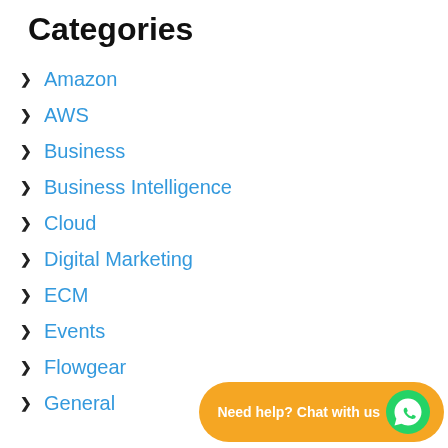Categories
Amazon
AWS
Business
Business Intelligence
Cloud
Digital Marketing
ECM
Events
Flowgear
General
[Figure (illustration): Orange 'Need help? Chat with us' button with WhatsApp green circle icon on the right]